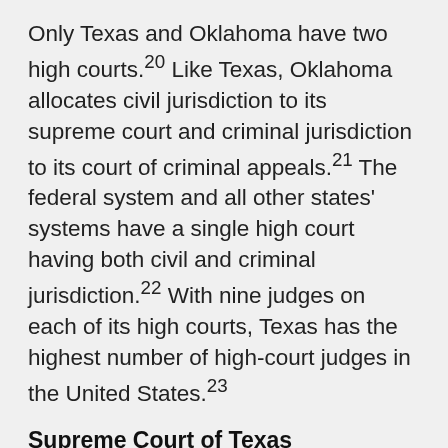Only Texas and Oklahoma have two high courts.20 Like Texas, Oklahoma allocates civil jurisdiction to its supreme court and criminal jurisdiction to its court of criminal appeals.21 The federal system and all other states' systems have a single high court having both civil and criminal jurisdiction.22 With nine judges on each of its high courts, Texas has the highest number of high-court judges in the United States.23
Supreme Court of Texas
Number of Justices and Terms of Office. The Supreme Court of Texas is comprised of a Chief Justice and eight justices, each of whom serves a six-year term.24 To be eligible to serve on the